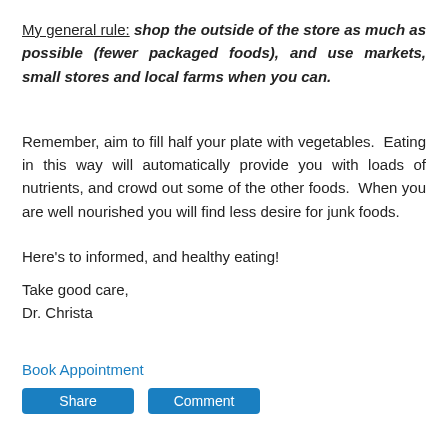My general rule: shop the outside of the store as much as possible (fewer packaged foods), and use markets, small stores and local farms when you can.
Remember, aim to fill half your plate with vegetables. Eating in this way will automatically provide you with loads of nutrients, and crowd out some of the other foods. When you are well nourished you will find less desire for junk foods.
Here's to informed, and healthy eating!
Take good care,
Dr. Christa
Book Appointment